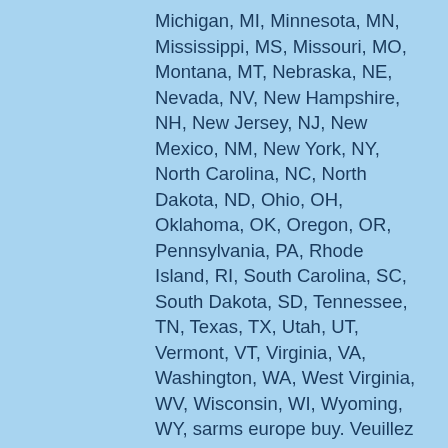Michigan, MI, Minnesota, MN, Mississippi, MS, Missouri, MO, Montana, MT, Nebraska, NE, Nevada, NV, New Hampshire, NH, New Jersey, NJ, New Mexico, NM, New York, NY, North Carolina, NC, North Dakota, ND, Ohio, OH, Oklahoma, OK, Oregon, OR, Pennsylvania, PA, Rhode Island, RI, South Carolina, SC, South Dakota, SD, Tennessee, TN, Texas, TX, Utah, UT, Vermont, VT, Virginia, VA, Washington, WA, West Virginia, WV, Wisconsin, WI, Wyoming, WY, sarms europe buy. Veuillez renseigner votre email. Allow players to test out several casinos without a big financial commitment, sarms europe shop. Most Used Blackjack Counting Systems. Trenbolone is an anabolic steroid that has a very sharp effect and works for the rapid growth of many muscles. Several other effects are gender and age specific, sarms europe shop. Tous sont très courants en ce qui concerne leur association avec une